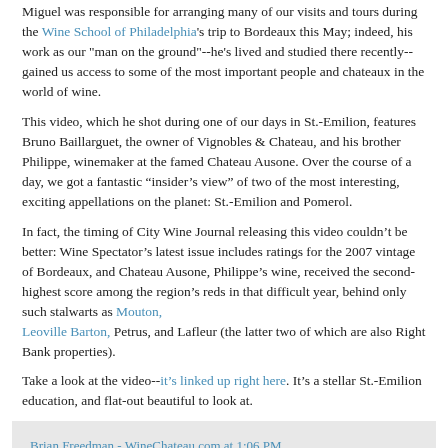Miguel was responsible for arranging many of our visits and tours during the Wine School of Philadelphia's trip to Bordeaux this May; indeed, his work as our "man on the ground"--he's lived and studied there recently--gained us access to some of the most important people and chateaux in the world of wine.
This video, which he shot during one of our days in St.-Emilion, features Bruno Baillarguet, the owner of Vignobles & Chateau, and his brother Philippe, winemaker at the famed Chateau Ausone. Over the course of a day, we got a fantastic “insider’s view” of two of the most interesting, exciting appellations on the planet: St.-Emilion and Pomerol.
In fact, the timing of City Wine Journal releasing this video couldn’t be better: Wine Spectator’s latest issue includes ratings for the 2007 vintage of Bordeaux, and Chateau Ausone, Philippe’s wine, received the second-highest score among the region’s reds in that difficult year, behind only such stalwarts as Mouton, Leoville Barton, Petrus, and Lafleur (the latter two of which are also Right Bank properties).
Take a look at the video--it's linked up right here. It’s a stellar St.-Emilion education, and flat-out beautiful to look at.
Brian Freedman - WineChateau.com at 1:06 PM
No comments:
Monday, February 22, 2010
Decanting Champagne with Charles Heidsieck and Riedel Crystal